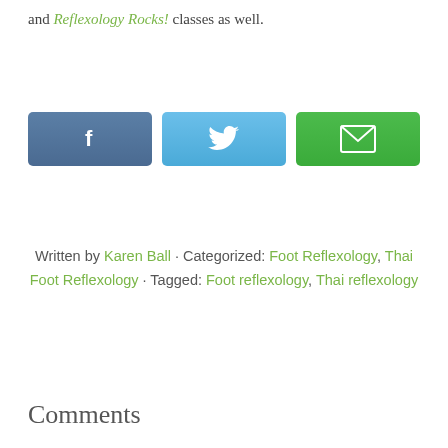and Reflexology Rocks! classes as well.
[Figure (infographic): Three social sharing buttons: Facebook (dark blue with 'f' icon), Twitter (light blue with bird icon), Email (green with envelope icon)]
Written by Karen Ball · Categorized: Foot Reflexology, Thai Foot Reflexology · Tagged: Foot reflexology, Thai reflexology
Comments